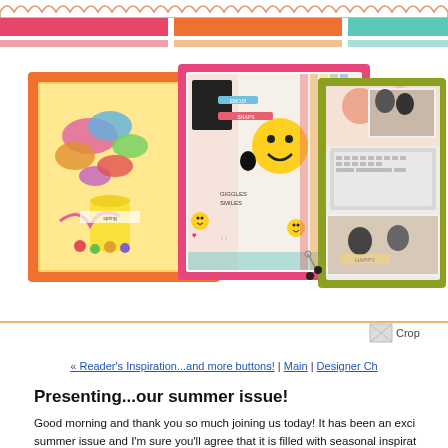[Figure (illustration): Decorative scallop/wavy border in orange/peach at top of page]
[Figure (illustration): Three colored horizontal bars (pink, orange, teal) with thinner secondary bars below each]
[Figure (photo): Three framed scrapbook pages: orange frame with butterfly craft, pink frame with emoji/face scrapbook layout, olive/yellow-green frame with family photos scrapbook layout]
[Figure (logo): Partial logo image with text starting 'Crop']
« Reader's Inspiration...and more buttons! | Main | Designer Ch
Presenting...our summer issue!
Good morning and thank you so much joining us today!  It has been an exci
summer issue and I'm sure you'll agree that it is filled with seasonal inspirat
the at the entire issue!  for at there or the will